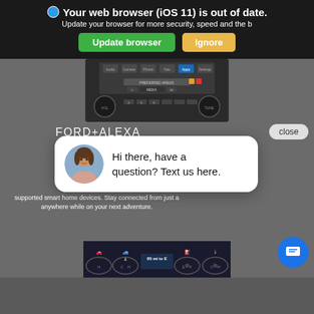[Figure (screenshot): Browser update warning banner: '🌐 Your web browser (iOS 11) is out of date. Update your browser for more security, speed and the b...' with 'Update browser' (green) and 'Ignore' (orange) buttons on dark background.]
[Figure (screenshot): Ford car audio/radio head unit with screen showing navigation tabs (Audio, Camera, Phone, Nav, Apps, Settings) and preset buttons below.]
FORD+ALEXA
[Figure (screenshot): Chat popup overlay with female avatar photo saying 'Hi there, have a question? Text us here.' and a blue chat FAB button.]
Bringing the am... Super Duty® is... Ford+Alexa app a... AppLink®. * Acce... skills and Amaz... supported smart home devices. Stay connected from just a... anywhere while on your next adventure.
[Figure (screenshot): Car instrument cluster dashboard showing fuel and range indicators, with '85 mi to E' display and gauge icons.]